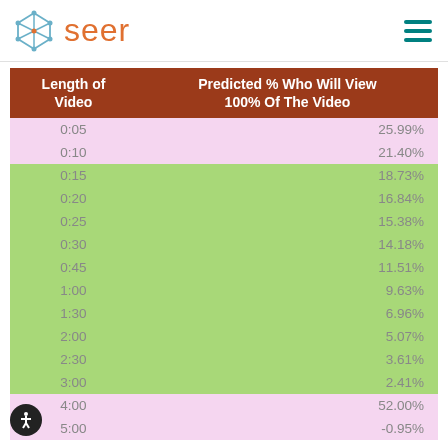seer
| Length of Video | Predicted % Who Will View 100% Of The Video |
| --- | --- |
| 0:05 | 25.99% |
| 0:10 | 21.40% |
| 0:15 | 18.73% |
| 0:20 | 16.84% |
| 0:25 | 15.38% |
| 0:30 | 14.18% |
| 0:45 | 11.51% |
| 1:00 | 9.63% |
| 1:30 | 6.96% |
| 2:00 | 5.07% |
| 2:30 | 3.61% |
| 3:00 | 2.41% |
| 4:00 | 52.00% |
| 5:00 | -0.95% |